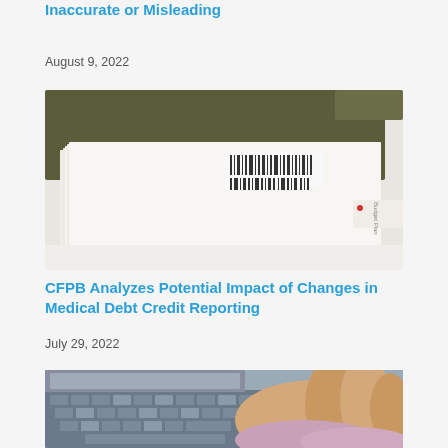Inaccurate or Misleading
August 9, 2022
[Figure (photo): Stack of documents in a manila file folder]
CFPB Analyzes Potential Impact of Changes in Medical Debt Credit Reporting
July 29, 2022
[Figure (photo): Person typing on laptop keyboard]